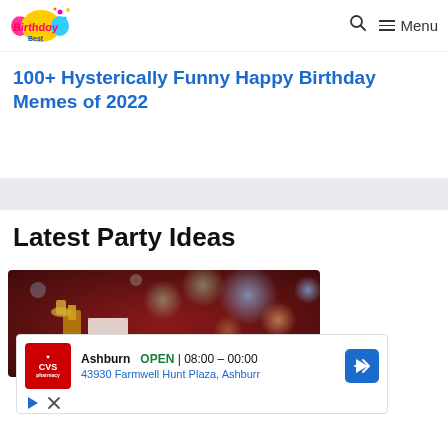The Birthday Best — Menu
100+ Hysterically Funny Happy Birthday Memes of 2022
Latest Party Ideas
[Figure (photo): A festive party scene with blurred bokeh lights in the background and gold/brass party items in the foreground]
[Figure (screenshot): CVS Pharmacy ad: Ashburn OPEN 08:00 - 00:00, 43930 Farmwell Hunt Plaza, Ashburn]